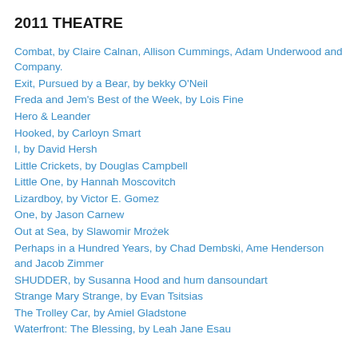2011 THEATRE
Combat, by Claire Calnan, Allison Cummings, Adam Underwood and Company.
Exit, Pursued by a Bear, by bekky O'Neil
Freda and Jem's Best of the Week, by Lois Fine
Hero & Leander
Hooked, by Carloyn Smart
I, by David Hersh
Little Crickets, by Douglas Campbell
Little One, by Hannah Moscovitch
Lizardboy, by Victor E. Gomez
One, by Jason Carnew
Out at Sea, by Slawomir Mrożek
Perhaps in a Hundred Years, by Chad Dembski, Ame Henderson and Jacob Zimmer
SHUDDER, by Susanna Hood and hum dansoundart
Strange Mary Strange, by Evan Tsitsias
The Trolley Car, by Amiel Gladstone
Waterfront: The Blessing, by Leah Jane Esau